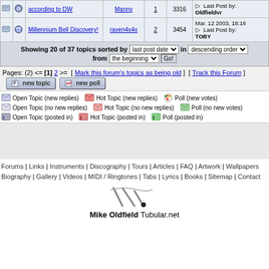|  |  | Topic | Author | Replies | Views | Last Post |
| --- | --- | --- | --- | --- | --- | --- |
|  |  | according to DW | Manny | 1 | 3316 | Last Post by: Oldfieldvr |
|  |  | Millennium Bell Discovery! | raven4x4x | 2 | 3454 | Mar. 12 2003, 18:16 Last Post by: TOBY |
Showing 20 of 37 topics sorted by last post date in descending order from the beginning Go!
Pages: (2) <= [1] 2 >= [ Mark this forum's topics as being old ] [ Track this Forum ]
Open Topic (new replies)   Hot Topic (new replies)   Poll (new votes)
Open Topic (no new replies)   Hot Topic (no new replies)   Poll (no new votes)
Open Topic (posted in)   Hot Topic (posted in)   Poll (posted in)
Forums | Links | Instruments | Discography | Tours | Articles | FAQ | Artwork | Wallpapers | Biography | Gallery | Videos | MIDI / Ringtones | Tabs | Lyrics | Books | Sitemap | Contact
[Figure (logo): Mike Oldfield Tubular.net logo with tubular bells graphic]